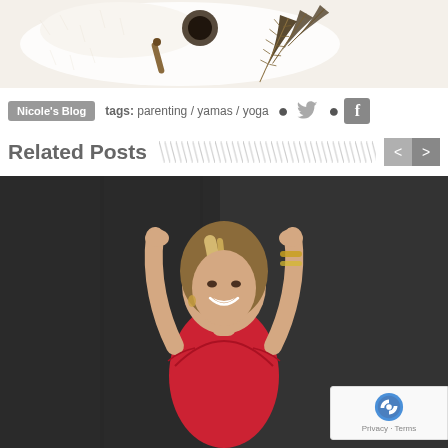[Figure (photo): Top portion of a lifestyle/flat-lay photo showing white fur texture with decorative items including feathers and wooden beads on a white background]
Nicole's Blog   tags: parenting / yamas / yoga
Related Posts
[Figure (photo): Woman with blonde hair smiling, wearing red top, with arms raised above her head, against a dark charcoal background]